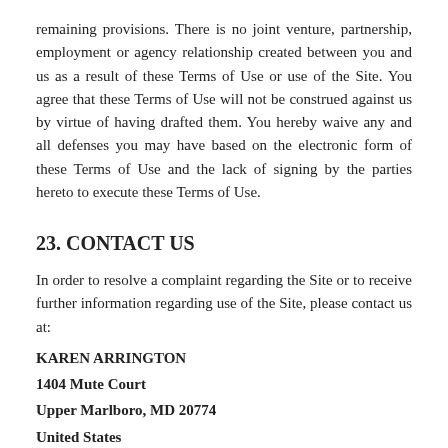remaining provisions. There is no joint venture, partnership, employment or agency relationship created between you and us as a result of these Terms of Use or use of the Site. You agree that these Terms of Use will not be construed against us by virtue of having drafted them. You hereby waive any and all defenses you may have based on the electronic form of these Terms of Use and the lack of signing by the parties hereto to execute these Terms of Use.
23. CONTACT US
In order to resolve a complaint regarding the Site or to receive further information regarding use of the Site, please contact us at:
KAREN ARRINGTON
1404 Mute Court
Upper Marlboro, MD 20774
United States
karen@karenarrington.com